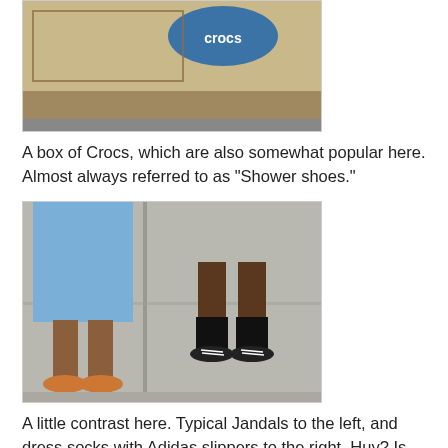[Figure (photo): Top of a cardboard Crocs shoe box, partially visible, showing Crocs branding logo]
A box of Crocs, which are also somewhat popular here. Almost always referred to as "Shower shoes."
[Figure (photo): Feet of two people on a sidewalk. Left person wearing orange/brown Jandals (flip-flops) with a blue shirt/skirt. Right person wearing black dress socks with black Adidas slippers.]
A little contrast here. Typical Jandals to the left, and dress socks with Adidas slippers to the right. Huy? Is that you?
[Figure (photo): Partially visible third photo at bottom of page, cut off]